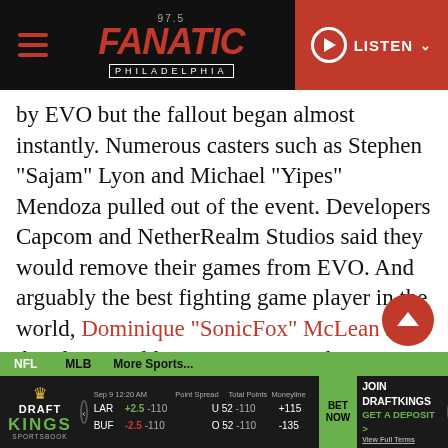97.5 Fanatic Philadelphia | LISTEN
by EVO but the fallout began almost instantly. Numerous casters such as Stephen “Sajam” Lyon and Michael “Yipes” Mendoza pulled out of the event. Developers Capcom and NetherRealm Studios said they would remove their games from EVO. And arguably the best fighting game player in the world, Dominique “SonicFox” McLean said that they would not participate either. As pressure mounted, EVO released a statement removing Cuellar of all duties and canceling Evo Online.
NFL | MLB | More Sports... | DraftKings Sportsbook | Sep 9 12:20 AM | LAR +2.5 -110 | BUF -2.5 -110 | U 52 -110 | O 52 -110 | +115 | -135 | BET NOW | JOIN DRAFTKINGS GET A DEPOSIT | View Full Terms